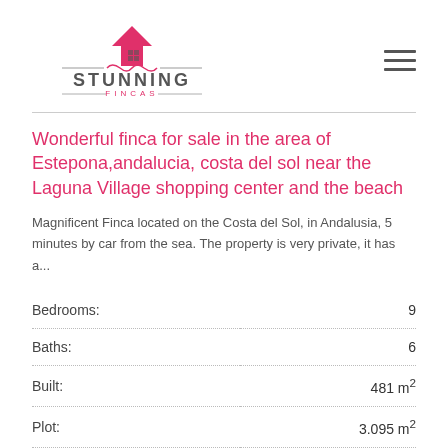[Figure (logo): Stunning Fincas logo with pink house icon and ornamental swirl, company name in grey and pink]
Wonderful finca for sale in the area of Estepona,andalucia, costa del sol near the Laguna Village shopping center and the beach
Magnificent Finca located on the Costa del Sol, in Andalusia, 5 minutes by car from the sea. The property is very private, it has a...
| Label | Value |
| --- | --- |
| Bedrooms: | 9 |
| Baths: | 6 |
| Built: | 481 m² |
| Plot: | 3.095 m² |